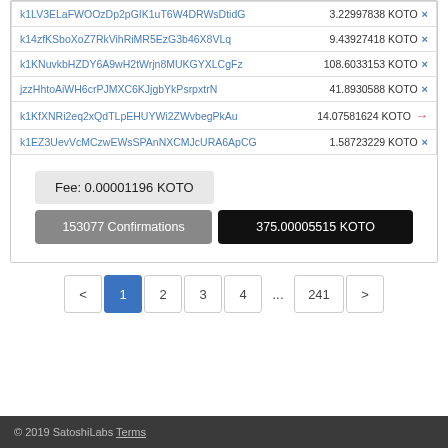| Address | Amount |  |
| --- | --- | --- |
| k1LV3ELaFWOOzDp2pGIK1uT6W4DRWsDtidG | 3.22997838 KOTO | × |
| k14zfKSboXoZ7RkVihRiMR5EzG3b46X8VLq | 9.43927418 KOTO | × |
| k1KNuvkbHZDY6A9wH2tWrjn8MUKGYXLCgFz | 108.6033153 KOTO | × |
| jzzHhtoAiWH6crPJMXC6KJjgbYkPsrpxtrN | 41.8930588 KOTO | × |
| k1KfXNRi2eq2xQdTLpEHUYWi2ZWvbegPkAu | 14.07581624 KOTO | → |
| k1EZ3UevVcMCzwEWsSPAnNXCMJcURA6ApCG | 1.58723229 KOTO | × |
Fee: 0.00001196 KOTO
153077 Confirmations
375.00005515 KOTO
< 1 2 3 4 ... 241 >
© 2019 SatoshiLabs Terms